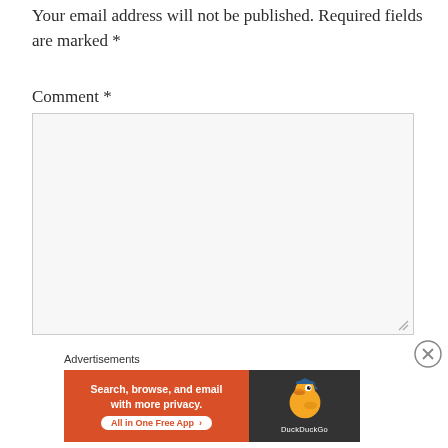Your email address will not be published. Required fields are marked *
Comment *
[Figure (screenshot): Empty comment text area input box with light gray background and resize handle in bottom right corner]
Advertisements
[Figure (infographic): DuckDuckGo advertisement banner. Orange left panel with text 'Search, browse, and email with more privacy. All in One Free App'. Dark right panel with DuckDuckGo duck logo and DuckDuckGo text.]